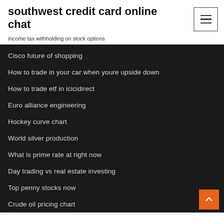southwest credit card online chat
income tax withholding on stock options
Cisco future of shopping
How to trade in your car when youre upside down
How to trade etf in icicidirect
Euro alliance engineering
Hockey curve chart
World silver production
What is prime rate at right now
Day trading vs real estate investing
Top penny stocks now
Crude oil pricing chart